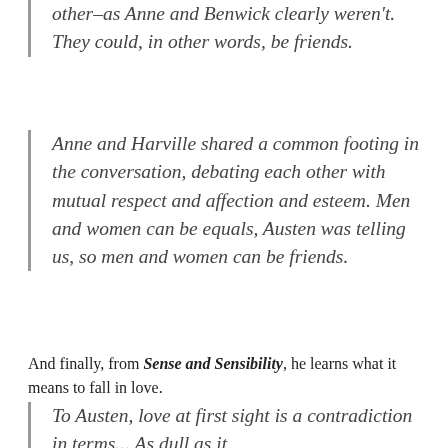other–as Anne and Benwick clearly weren't. They could, in other words, be friends.
Anne and Harville shared a common footing in the conversation, debating each other with mutual respect and affection and esteem. Men and women can be equals, Austen was telling us, so men and women can be friends.
And finally, from Sense and Sensibility, he learns what it means to fall in love.
To Austen, love at first sight is a contradiction in terms... As dull as it